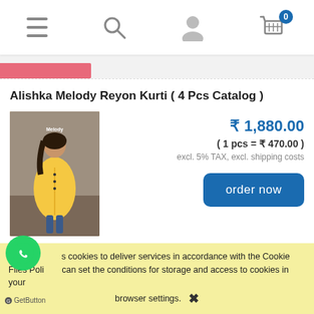Navigation bar with menu, search, user, and cart icons
Alishka Melody Reyon Kurti ( 4 Pcs Catalog )
[Figure (photo): Product photo of a woman in a yellow kurti with 'Melody' branding]
₹ 1,880.00
( 1 pcs = ₹ 470.00 )
excl. 5% TAX, excl. shipping costs
order now
This uses cookies to deliver services in accordance with the Cookie Files Policy. You can set the conditions for storage and access to cookies in your browser settings.